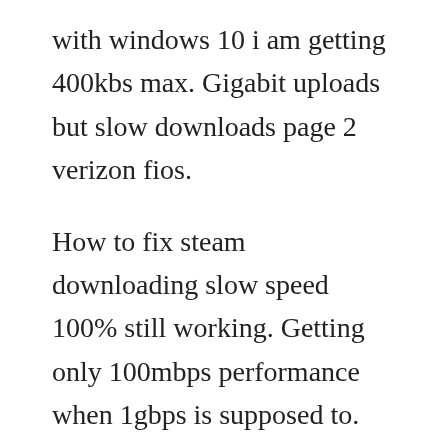with windows 10 i am getting 400kbs max. Gigabit uploads but slow downloads page 2 verizon fios.
How to fix steam downloading slow speed 100% still working. Getting only 100mbps performance when 1gbps is supposed to. Oct 08, 2012 how to boost your steam download speed. Hello im new to verizon fios and got an email saying that i would be getting the gigabit speed upgrade for free. Fast internet, slow download speed posted in networking. Feb 11, 2018 now i can see how gigabit fibre